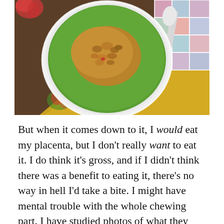[Figure (photo): Overhead shot of a green smoothie bowl topped with granola in a white bowl, placed on a yellow floral napkin alongside a silver spoon, with a colorful mosaic tile surface visible.]
But when it comes down to it, I would eat my placenta, but I don't really want to eat it. I do think it's gross, and if I didn't think there was a benefit to eating it, there's no way in hell I'd take a bite. I might have mental trouble with the whole chewing part. I have studied photos of what they look like, but in all honesty, it